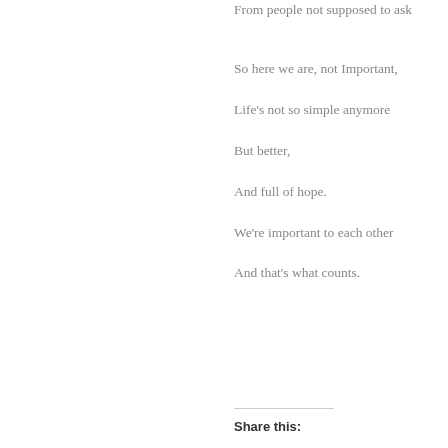From people not supposed to ask
So here we are, not Important,

Life's not so simple anymore

But better,

And full of hope.

We're important to each other

And that's what counts.
Share this: